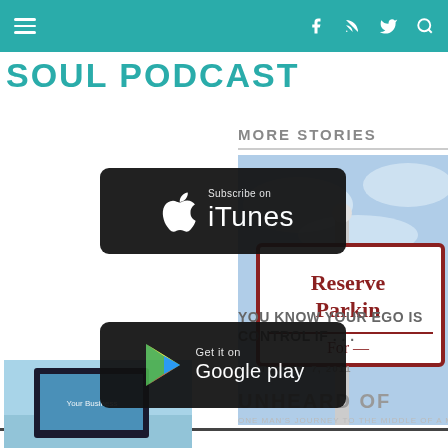Navigation bar with hamburger menu, Facebook, RSS, Twitter, Search icons
SOUL PODCAST
MORE STORIES
[Figure (screenshot): Subscribe on iTunes badge - black rounded rectangle with Apple logo and text 'Subscribe on iTunes']
[Figure (screenshot): Get it on Google Play badge - black rounded rectangle with Google Play triangle logo and text 'Get it on Google play']
[Figure (photo): Reserved Parking sign against blue cloudy sky]
YOU KNOW YOUR EGO IS CONTROL IF . . .
SEPTEMBER 7, 2011
[Figure (photo): Book or video cover showing 'Your Business' text]
UNHEARD OF
ONE MAN'S JOURNEY TO THE MIDDLE OF A MIRACLE